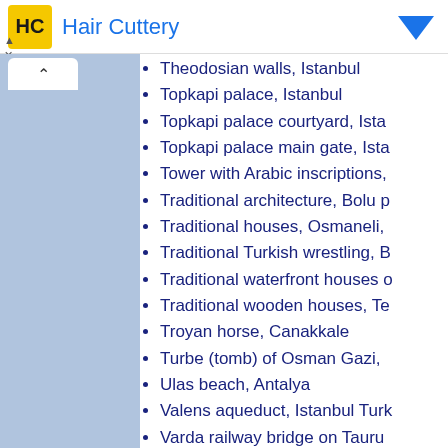Hair Cuttery
Theodosian walls, Istanbul
Topkapi palace, Istanbul
Topkapi palace courtyard, Ista...
Topkapi palace main gate, Ista...
Tower with Arabic inscriptions,...
Traditional architecture, Bolu p...
Traditional houses, Osmaneli,...
Traditional Turkish wrestling, B...
Traditional waterfront houses o...
Traditional wooden houses, Te...
Troyan horse, Canakkale
Turbe (tomb) of Osman Gazi,...
Ulas beach, Antalya
Valens aqueduct, Istanbul Tur...
Varda railway bridge on Tauru...
Volcanic cones, Cappadocia r...
Waterfall, Antalya
Waterfall, Artvin
Waterfalls, Aladaglar, Kayseri
Whitewater rafting, Artvin
Whitewater rafting, Bayburt pr...
Wild tulips, Mus province